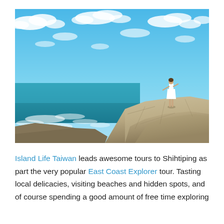[Figure (photo): A person in a white dress standing on rocky coastal cliffs overlooking turquoise ocean water under a bright blue sky with scattered white clouds.]
Island Life Taiwan leads awesome tours to Shihtiping as part the very popular East Coast Explorer tour. Tasting local delicacies, visiting beaches and hidden spots, and of course spending a good amount of free time exploring